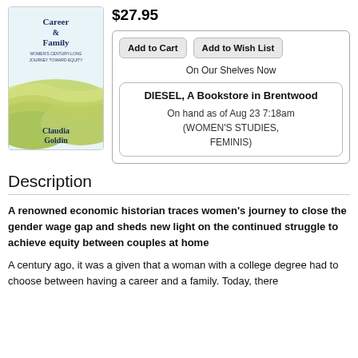[Figure (illustration): Book cover of 'Career & Family: Women's Century-Long Journey toward Equity' by Claudia Goldin. Features title in dark blue text and an abstract landscape with green and yellow hills.]
$27.95
Add to Cart   Add to Wish List
On Our Shelves Now
DIESEL, A Bookstore in Brentwood
On hand as of Aug 23 7:18am
(WOMEN'S STUDIES, FEMINIS)
Description
A renowned economic historian traces women's journey to close the gender wage gap and sheds new light on the continued struggle to achieve equity between couples at home
A century ago, it was a given that a woman with a college degree had to choose between having a career and a family. Today, there